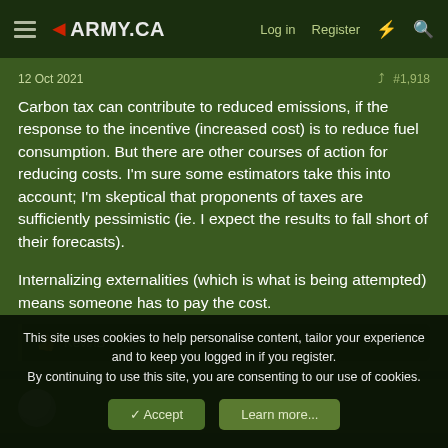◄ARMY.CA  Log in  Register
12 Oct 2021  #1,918
Carbon tax can contribute to reduced emissions, if the response to the incentive (increased cost) is to reduce fuel consumption. But there are other courses of action for reducing costs. I'm sure some estimators take this into account; I'm skeptical that proponents of taxes are sufficiently pessimistic (ie. I expect the results to fall short of their forecasts).

Internalizing externalities (which is what is being attempted) means someone has to pay the cost.
👍 KevinB
This site uses cookies to help personalise content, tailor your experience and to keep you logged in if you register.
By continuing to use this site, you are consenting to our use of cookies.